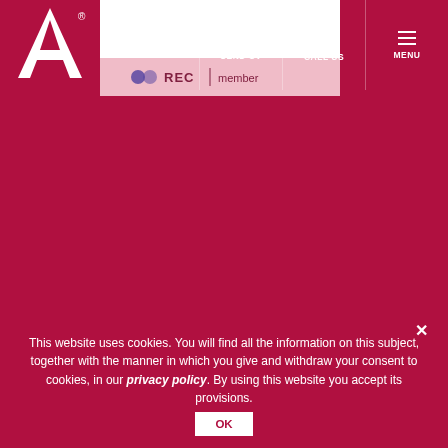[Figure (logo): White letter A with registered trademark symbol on dark red background, company logo]
[Figure (logo): REC member badge/logo on light pink background]
SEND CV | CALL US | MENU
This website uses cookies. You will find all the information on this subject, together with the manner in which you give and withdraw your consent to cookies, in our privacy policy. By using this website you accept its provisions.
OK